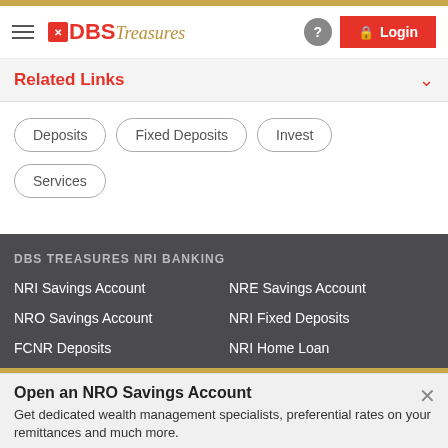[Figure (logo): DBS Treasures logo with hamburger menu and Login button in header]
Related Links
Deposits
Fixed Deposits
Invest
Services
DBS TREASURES NRI BANKING
NRI Savings Account
NRE Savings Account
NRO Savings Account
NRI Fixed Deposits
FCNR Deposits
NRI Home Loan
Open an NRO Savings Account
Get dedicated wealth management specialists, preferential rates on your remittances and much more.